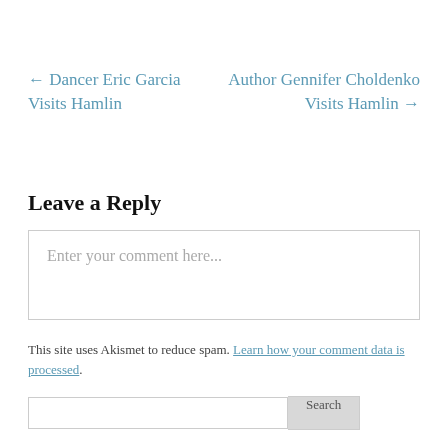← Dancer Eric Garcia Visits Hamlin
Author Gennifer Choldenko Visits Hamlin →
Leave a Reply
Enter your comment here...
This site uses Akismet to reduce spam. Learn how your comment data is processed.